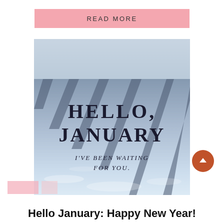READ MORE
[Figure (photo): Snow-covered ground with diagonal shadow lines cast across it, with text overlay reading 'HELLO, JANUARY / I'VE BEEN WAITING FOR YOU.']
Hello January: Happy New Year!